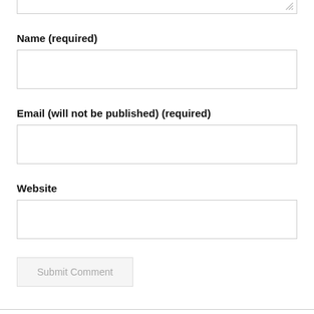[Figure (screenshot): Partial textarea input box at the top of the page, showing a resizable comment field]
Name (required)
[Figure (screenshot): Text input field for Name]
Email (will not be published) (required)
[Figure (screenshot): Text input field for Email]
Website
[Figure (screenshot): Text input field for Website]
Submit Comment
© 2022 Sylvan Lake Minor Hockey Association | Powered by TeamSnap®